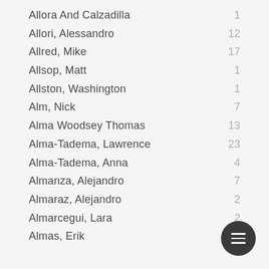Allora And Calzadilla  1
Allori, Alessandro  12
Allred, Mike  17
Allsop, Matt  1
Allston, Washington  1
Alm, Nick  7
Alma Woodsey Thomas  13
Alma-Tadema, Lawrence  23
Alma-Tadema, Anna  4
Almanza, Alejandro  7
Almaraz, Alejandro  2
Almarcegui, Lara  2
Almas, Erik  5